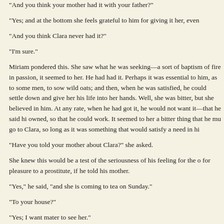"And you think your mother had it with your father?"
"Yes; and at the bottom she feels grateful to him for giving it her, even
"And you think Clara never had it?"
"I'm sure."
Miriam pondered this. She saw what he was seeking—a sort of baptism of fire in passion, it seemed to her. He had had it. Perhaps it was essential to him, as to some men, to sow wild oats; and then, when he was satisfied, he could settle down and give her his life into her hands. Well, she was bitter, but she believed in him. It was not for pleasure's sake he had gone to Clara. He said this himself he was trying to realize something that had been baulking him. At any rate, when he had got it, he would not want it—that he said himself, practically. He would want to work, to have her near him, settled, so that he could work. It seemed to her a bitter thing that he must go to Clara, so long as it was something that would satisfy a need in hi
"Have you told your mother about Clara?" she asked.
She knew this would be a test of the seriousness of his feeling for the other woman: he would go for pleasure to a prostitute, if he told his mother.
"Yes," he said, "and she is coming to tea on Sunday."
"To your house?"
"Yes; I want mater to see her."
"Ah!"
There was a silence. Things had gone quicker than she thought. She fe